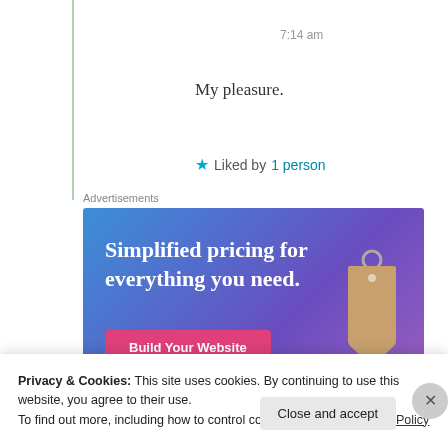7:14 am
My pleasure.
Liked by 1 person
Advertisements
[Figure (illustration): Advertisement banner: 'Simplified pricing for everything you need.' with a pink 'Build Your Website' button and a price tag image on a blue-purple gradient background.]
Privacy & Cookies: This site uses cookies. By continuing to use this website, you agree to their use. To find out more, including how to control cookies, see here: Cookie Policy
Close and accept